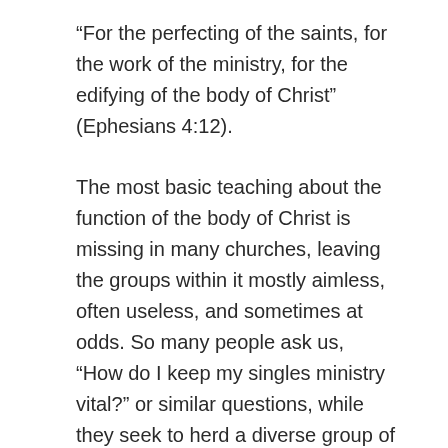“For the perfecting of the saints, for the work of the ministry, for the edifying of the body of Christ” (Ephesians 4:12).
The most basic teaching about the function of the body of Christ is missing in many churches, leaving the groups within it mostly aimless, often useless, and sometimes at odds. So many people ask us, “How do I keep my singles ministry vital?” or similar questions, while they seek to herd a diverse group of minds through a portal of self-satisfying weekly engagements. In short, too many singles groups are nursery and preschool groups, or at best youth groups, that never graduated to the next level.